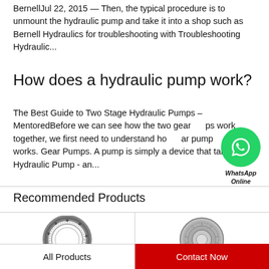BernellJul 22, 2015 — Then, the typical procedure is to unmount the hydraulic pump and take it into a shop such as Bernell Hydraulics for troubleshooting with Troubleshooting Hydraulic...
How does a hydraulic pump work?
The Best Guide to Two Stage Hydraulic Pumps – MentoredBefore we can see how the two gear pumps work together, we first need to understand how a gear pump works. Gear Pumps. A pump is simply a device that takes  Hydraulic Pump - an...
[Figure (other): WhatsApp Online chat bubble icon with green circle and phone handset icon, labeled WhatsApp Online]
Recommended Products
[Figure (photo): Slewing ring bearing product image - black ring with bolt holes]
[Figure (photo): Round flange bearing / gear ring product image - silver/grey metallic]
All Products
Contact Now